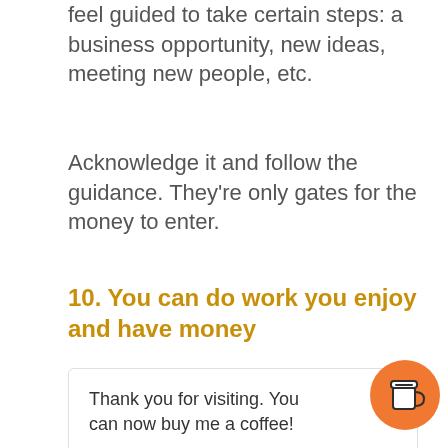feel guided to take certain steps: a business opportunity, new ideas, meeting new people, etc.
Acknowledge it and follow the guidance. They're only gates for the money to enter.
10. You can do work you enjoy and have money
Thank you for visiting. You can now buy me a coffee!